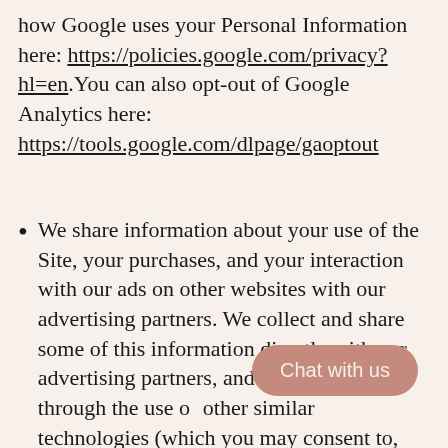how Google uses your Personal Information here: https://policies.google.com/privacy?hl=en.You can also opt-out of Google Analytics here: https://tools.google.com/dlpage/gaoptout
We share information about your use of the Site, your purchases, and your interaction with our ads on other websites with our advertising partners. We collect and share some of this information directly with our advertising partners, and in some cases through the use of cookies and other similar technologies (which you may consent to, depending on your